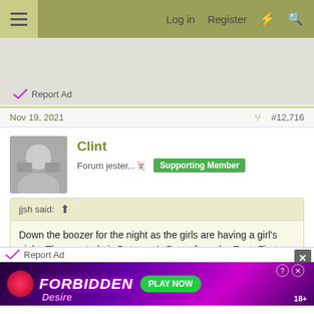Log in  Register
[Figure (screenshot): Report Ad link with checkmark icon in gray banner area]
Nov 19, 2021  #12,716
Clint
Forum jester...🃏  Supporting Member
jjsh said: ⊕
Down the boozer for the night as the girls are having a girl's night. The guest ale is Bateman's Beast from the East. First pint has lasted about 5 mins. Not good, it's 5.5%....
[Figure (screenshot): Report Ad banner at bottom with Forbidden Desire advertisement showing PLAY NOW button and 18+ label]